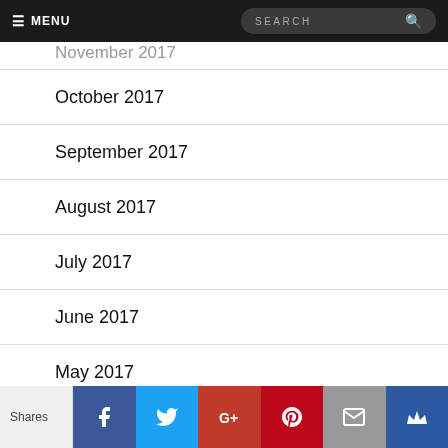☰ MENU | SEARCH
November 2017
October 2017
September 2017
August 2017
July 2017
June 2017
May 2017
April 2017
March 2017
February 2017
Shares | Facebook | Twitter | Google+ | Pinterest | Email | Crown